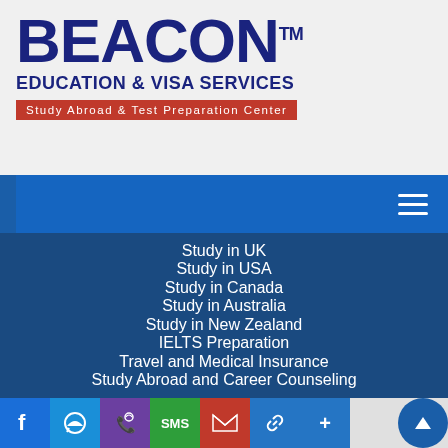[Figure (logo): Beacon Education & Visa Services logo with tagline 'Study Abroad & Test Preparation Center']
Study in UK
Study in USA
Study in Canada
Study in Australia
Study in New Zealand
IELTS Preparation
Travel and Medical Insurance
Study Abroad and Career Counseling